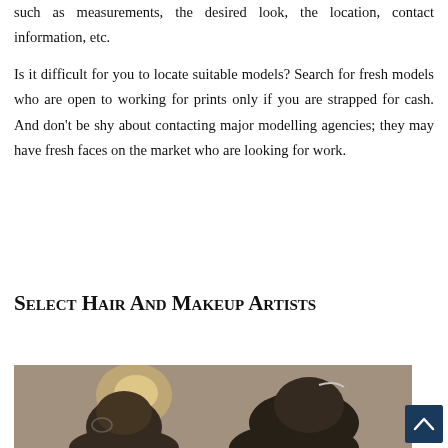such as measurements, the desired look, the location, contact information, etc.
Is it difficult for you to locate suitable models? Search for fresh models who are open to working for prints only if you are strapped for cash. And don't be shy about contacting major modelling agencies; they may have fresh faces on the market who are looking for work.
Select Hair And Makeup Artists
[Figure (photo): A photograph showing people from behind, appearing to be at a hair and makeup session, with bokeh lighting in the background.]